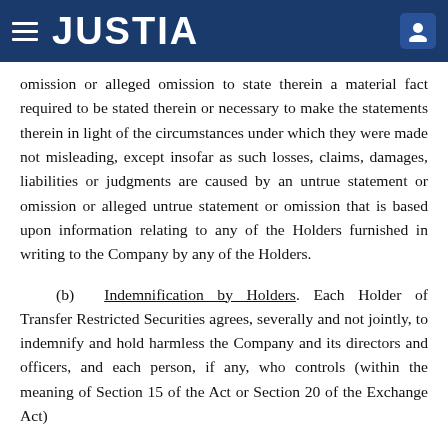JUSTIA
omission or alleged omission to state therein a material fact required to be stated therein or necessary to make the statements therein in light of the circumstances under which they were made not misleading, except insofar as such losses, claims, damages, liabilities or judgments are caused by an untrue statement or omission or alleged untrue statement or omission that is based upon information relating to any of the Holders furnished in writing to the Company by any of the Holders.
(b) Indemnification by Holders. Each Holder of Transfer Restricted Securities agrees, severally and not jointly, to indemnify and hold harmless the Company and its directors and officers, and each person, if any, who controls (within the meaning of Section 15 of the Act or Section 20 of the Exchange Act)